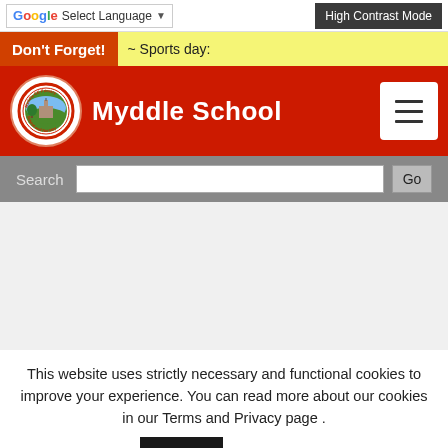Select Language | High Contrast Mode
Don't Forget! ~ Sports day:
Myddle School
Search Go
This website uses strictly necessary and functional cookies to improve your experience. You can read more about our cookies in our Terms and Privacy page . Accept Read More